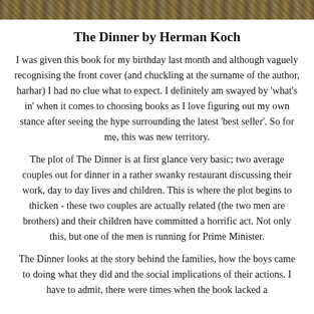[Figure (photo): Decorative photo bar at the top of the page showing a textured natural surface (pebbles or ground cover).]
The Dinner by Herman Koch
I was given this book for my birthday last month and although vaguely recognising the front cover (and chuckling at the surname of the author, harhar) I had no clue what to expect. I definitely am swayed by 'what's in' when it comes to choosing books as I love figuring out my own stance after seeing the hype surrounding the latest 'best seller'. So for me, this was new territory.
The plot of The Dinner is at first glance very basic; two average couples out for dinner in a rather swanky restaurant discussing their work, day to day lives and children. This is where the plot begins to thicken - these two couples are actually related (the two men are brothers) and their children have committed a horrific act. Not only this, but one of the men is running for Prime Minister.
The Dinner looks at the story behind the families, how the boys came to doing what they did and the social implications of their actions. I have to admit, there were times when the book lacked a